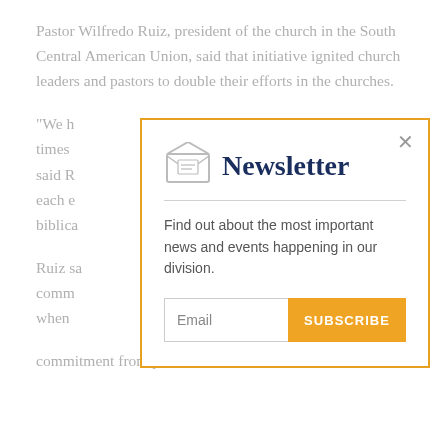Pastor Wilfredo Ruiz, president of the church in the South Central American Union, said that initiative ignited church leaders and pastors to double their efforts in the churches.
“We h[ave seen] times [more than] ny,” said R[uiz...] end each e[lder to study] biblica[l...
Ruiz sa[id he made a] comm[itment to] e when [...
commitment from pastors and church elders, a
[Figure (infographic): Newsletter signup modal popup with orange border, envelope icon, 'Newsletter' title in dark navy, description text 'Find out about the most important news and events happening in our division.', email input field and orange SUBSCRIBE button, and an X close button in top right corner.]